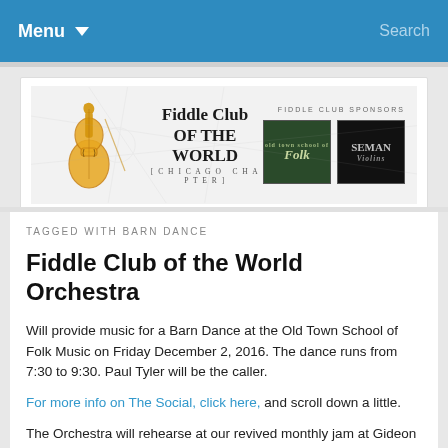Menu  Search
[Figure (logo): Fiddle Club of the World Chicago Chapter logo with golden violin illustration and sponsor logos for Old Town School of Folk and Seman Violins]
TAGGED WITH BARN DANCE
Fiddle Club of the World Orchestra
Will provide music for a Barn Dance at the Old Town School of Folk Music on Friday December 2, 2016. The dance runs from 7:30 to 9:30. Paul Tyler will be the caller.
For more info on The Social, click here, and scroll down a little.
The Orchestra will rehearse at our revived monthly jam at Gideon Welles (4500 Lincoln) on Sunday, November 20 at 7pm. Another